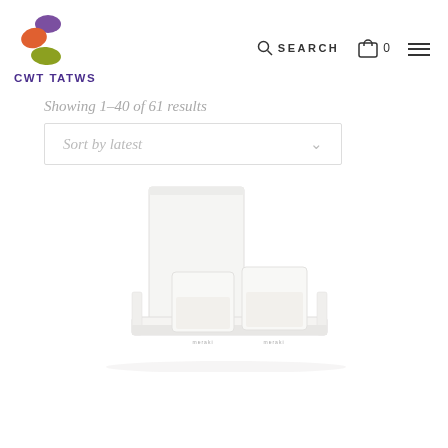CWT TATWS | SEARCH | 0 | menu
Showing 1–40 of 61 results
Sort by latest
[Figure (photo): Two small white frosted glass candles labeled 'meraki' sitting in a white tray next to a tall white rectangular gift box, photographed on a white background.]